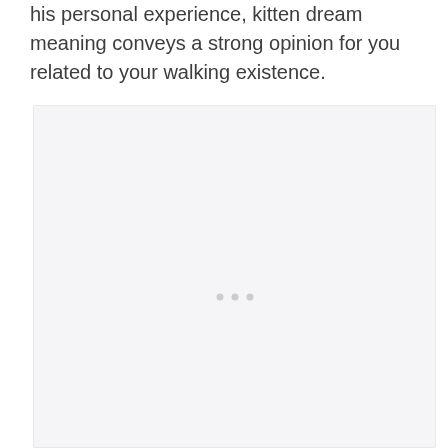his personal experience, kitten dream meaning conveys a strong opinion for you related to your walking existence.
[Figure (photo): A large light gray/white placeholder image area with three small gray dots centered in the lower-middle portion.]